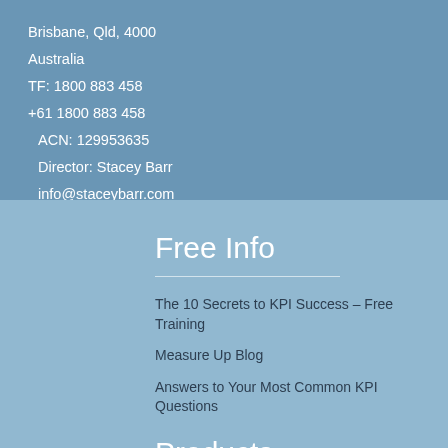Brisbane, Qld, 4000
Australia
TF: 1800 883 458
+61 1800 883 458
ACN: 129953635
Director: Stacey Barr
info@staceybarr.com
Free Info
The 10 Secrets to KPI Success – Free Training
Measure Up Blog
Answers to Your Most Common KPI Questions
Products